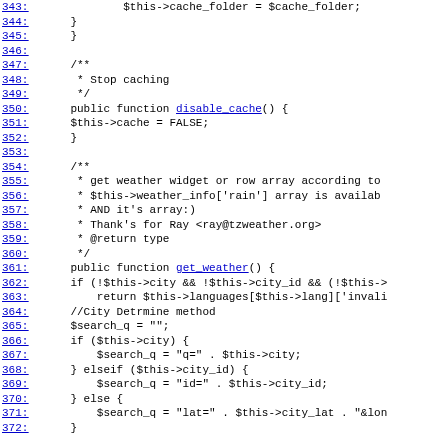Source code listing, lines 343-372, PHP class methods including cache_folder assignment, disable_cache(), and get_weather() function with city search logic